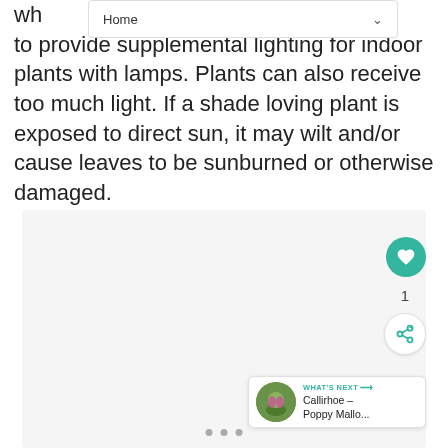Home
wh...e to provide supplemental lighting for indoor plants with lamps. Plants can also receive too much light. If a shade loving plant is exposed to direct sun, it may wilt and/or cause leaves to be sunburned or otherwise damaged.
[Figure (photo): A large light gray image placeholder area with UI elements: a teal heart/like button, a share button, a 'WHAT'S NEXT' card showing 'Callirhoe – Poppy Mallo...', and navigation dots at the bottom.]